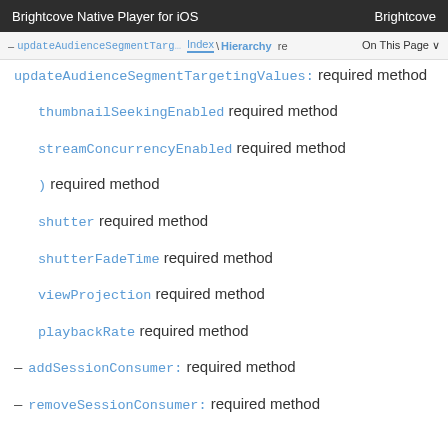Brightcove Native Player for iOS   Brightcove
– updateAudienceSegmentTargetingValues: required method
thumbnailSeekingEnabled required method
streamConcurrencyEnabled required method
) required method
shutter required method
shutterFadeTime required method
viewProjection required method
playbackRate required method
– addSessionConsumer: required method
– removeSessionConsumer: required method